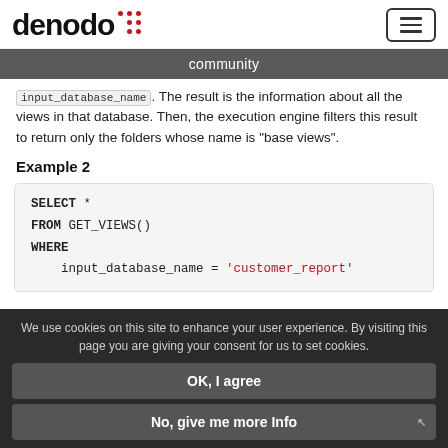denodo community
input_database_name. The result is the information about all the views in that database. Then, the execution engine filters this result to return only the folders whose name is “base views”.
Example 2
[Figure (screenshot): Code block showing SQL query: SELECT * FROM GET_VIEWS() WHERE input_database_name = 'customer_report']
We use cookies on this site to enhance your user experience. By visiting this page you are giving your consent for us to set cookies.
OK, I agree
No, give me more Info